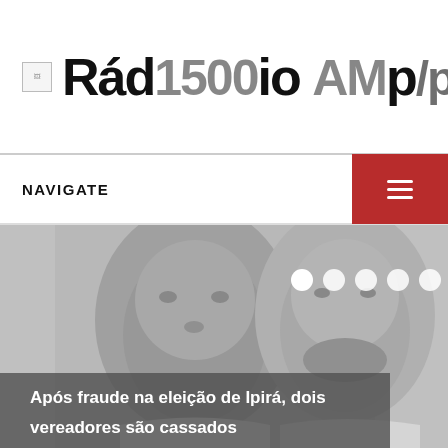Rádio Campo AM/pe — 1500 AM
NAVIGATE
[Figure (photo): Black and white photo of two men's faces side by side. Left: older man with broad face. Right: younger man with beard. Below their photos is a caption overlay reading 'Após fraude na eleição de Ipirá, dois vereadores são cassados'. Slide navigation dots visible in upper right of image.]
Após fraude na eleição de Ipirá, dois vereadores são cassados